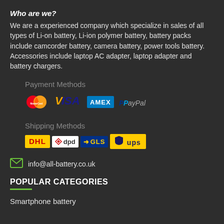Who are we?
We are a experienced company which specialize in sales of all types of Li-on battery, Li-ion polymer battery, battery packs include camcorder battery, camera battery, power tools battery. Accessories include laptop AC adapter, laptop adapter and battery chargers.
Payment Methods
[Figure (infographic): Payment method logos: MasterCard, VISA, AMEX, PayPal]
Shipping Methods
[Figure (infographic): Shipping method logos: DHL, dpd, GLS, UPS]
info@all-battery.co.uk
POPULAR CATEGORIES
Smartphone battery